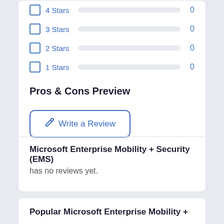4 Stars — 0
3 Stars — 0
2 Stars — 0
1 Stars — 0
Pros & Cons Preview
Write a Review
Microsoft Enterprise Mobility + Security (EMS) has no reviews yet.
Popular Microsoft Enterprise Mobility +